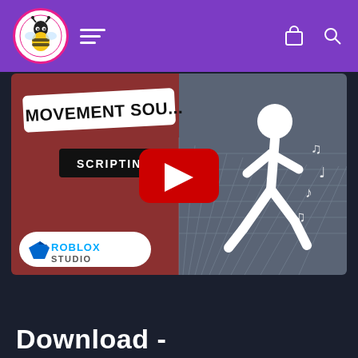Navigation header with bee logo, hamburger menu, cart and search icons
[Figure (screenshot): YouTube video thumbnail for 'Movement Sounds Scripting' tutorial in Roblox Studio, showing a walking figure with musical notes on a grey grid floor background, with red left panel showing 'MOVEMENT SOUNDS' text and 'SCRIPTING' badge, plus Roblox Studio logo]
Download -